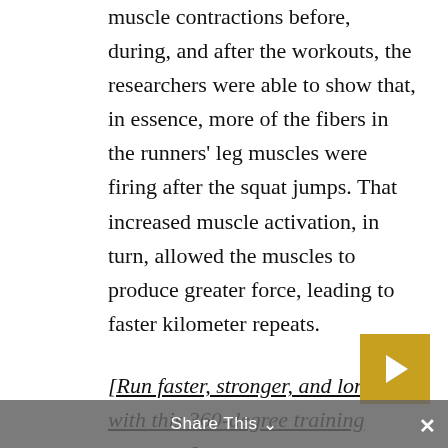muscle contractions before, during, and after the workouts, the researchers were able to show that, in essence, more of the fibers in the runners' leg muscles were firing after the squat jumps. That increased muscle activation, in turn, allowed the muscles to produce greater force, leading to faster kilometer repeats.
[Run faster, stronger, and longer with this 360-degree training program.]
Jonathan Low, lead researcher on the study, told Runner's World that other pre-workout plyometrics could have similar benefits. The video below shows one alternative that would be easy to do before your run.
Share This ∨